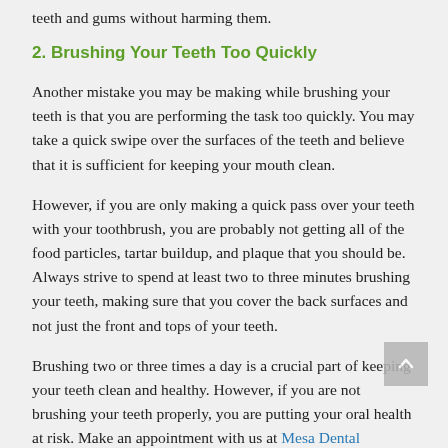teeth and gums without harming them.
2. Brushing Your Teeth Too Quickly
Another mistake you may be making while brushing your teeth is that you are performing the task too quickly. You may take a quick swipe over the surfaces of the teeth and believe that it is sufficient for keeping your mouth clean.
However, if you are only making a quick pass over your teeth with your toothbrush, you are probably not getting all of the food particles, tartar buildup, and plaque that you should be. Always strive to spend at least two to three minutes brushing your teeth, making sure that you cover the back surfaces and not just the front and tops of your teeth.
Brushing two or three times a day is a crucial part of keeping your teeth clean and healthy. However, if you are not brushing your teeth properly, you are putting your oral health at risk. Make an appointment with us at Mesa Dental to learn more teeth profesionally cleaned and…